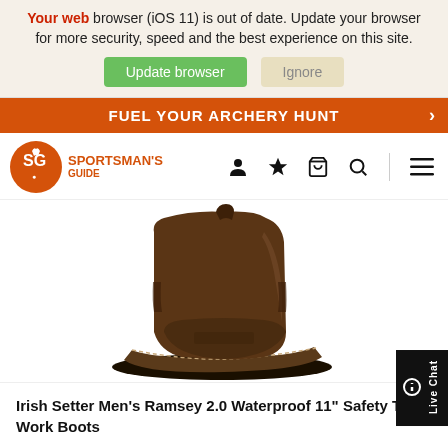Your web browser (iOS 11) is out of date. Update your browser for more security, speed and the best experience on this site.
Update browser | Ignore
FUEL YOUR ARCHERY HUNT
[Figure (logo): Sportsman's Guide logo - orange circle with SG letters and deer icon, with SPORTSMAN'S GUIDE text]
[Figure (photo): Irish Setter Men's Ramsey 2.0 Waterproof 11" Safety Toe Work Boot - brown leather pull-on work boot shown in side/front angle view]
Irish Setter Men's Ramsey 2.0 Waterproof 11" Safety Toe Work Boots
Buyer's Club    $152.99
Non-Member    $169.99